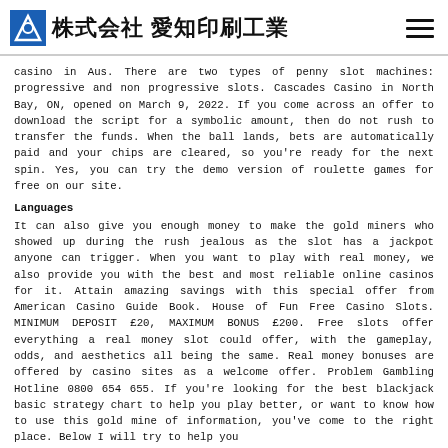株式会社 愛知印刷工業
casino in Aus. There are two types of penny slot machines: progressive and non progressive slots. Cascades Casino in North Bay, ON, opened on March 9, 2022. If you come across an offer to download the script for a symbolic amount, then do not rush to transfer the funds. When the ball lands, bets are automatically paid and your chips are cleared, so you're ready for the next spin. Yes, you can try the demo version of roulette games for free on our site.
Languages
It can also give you enough money to make the gold miners who showed up during the rush jealous as the slot has a jackpot anyone can trigger. When you want to play with real money, we also provide you with the best and most reliable online casinos for it. Attain amazing savings with this special offer from American Casino Guide Book. House of Fun Free Casino Slots. MINIMUM DEPOSIT £20, MAXIMUM BONUS £200. Free slots offer everything a real money slot could offer, with the gameplay, odds, and aesthetics all being the same. Real money bonuses are offered by casino sites as a welcome offer. Problem Gambling Hotline 0800 654 655. If you're looking for the best blackjack basic strategy chart to help you play better, or want to know how to use this gold mine of information, you've come to the right place. Below I will try to help you